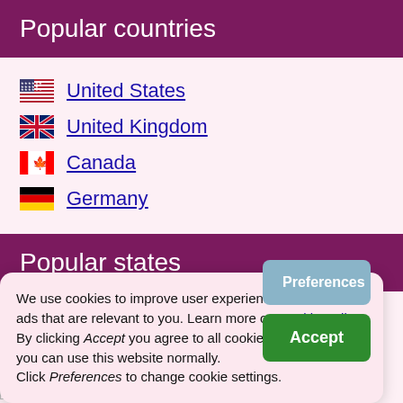Popular countries
United States
United Kingdom
Canada
Germany
Popular states
New York, USA
We use cookies to improve user experience and to serve ads that are relevant to you. Learn more on Cookie Policy. By clicking Accept you agree to all cookies we collect and you can use this website normally. Click Preferences to change cookie settings.
England, UK